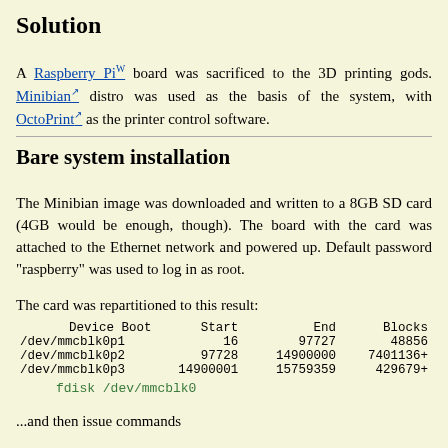Solution
A Raspberry Pi board was sacrificed to the 3D printing gods. Minibian distro was used as the basis of the system, with OctoPrint as the printer control software.
Bare system installation
The Minibian image was downloaded and written to a 8GB SD card (4GB would be enough, though). The board with the card was attached to the Ethernet network and powered up. Default password "raspberry" was used to log in as root.
The card was repartitioned to this result:
| Device Boot | Start | End | Blocks |
| --- | --- | --- | --- |
| /dev/mmcblk0p1 | 16 | 97727 | 48856 |
| /dev/mmcblk0p2 | 97728 | 14900000 | 7401136+ |
| /dev/mmcblk0p3 | 14900001 | 15759359 | 429679+ |
fdisk /dev/mmcblk0
...and then issue commands
d 2